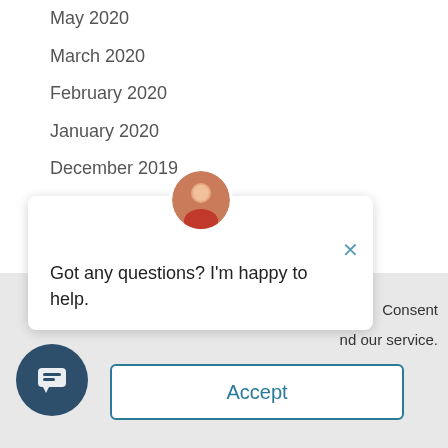May 2020
March 2020
February 2020
January 2020
December 2019
November 2019
October 2019
September 2019
Got any questions? I'm happy to help.
Consent
nd our service.
Accept